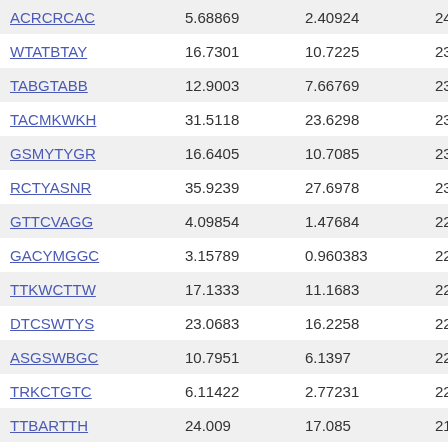| ACRCRCAC | 5.68869 | 2.40924 | 24.217… |
| WTATBTAY | 16.7301 | 10.7225 | 23.831… |
| TABGTABB | 12.9003 | 7.66769 | 23.588… |
| TACMKWKH | 31.5118 | 23.6298 | 23.225… |
| GSMYTYGR | 16.6405 | 10.7085 | 23.107… |
| RCTYASNR | 35.9239 | 27.6978 | 23.077… |
| GTTCVAGG | 4.09854 | 1.47684 | 22.894… |
| GACYMGGC | 3.15789 | 0.960383 | 22.661 |
| TTKWCTTW | 17.1333 | 11.1683 | 22.469… |
| DTCSWTYS | 23.0683 | 16.2258 | 22.273… |
| ASGSWBGC | 10.7951 | 6.1397 | 22.102… |
| TRKCTGTC | 6.11422 | 2.77231 | 22.045… |
| TTBARTTH | 24.009 | 17.085 | 21.891… |